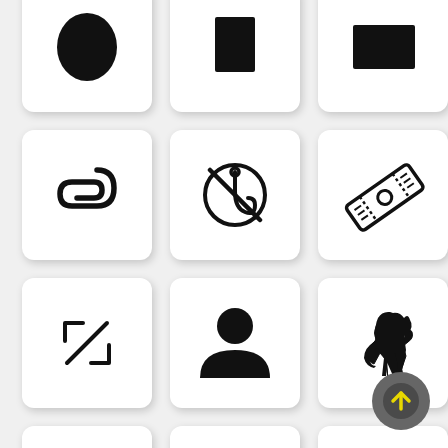[Figure (illustration): Grid of icons: black oval/ellipse, black rectangle portrait, black rectangle landscape, paperclip outline, anti-phishing/no-fishing circle icon, ticket/coupon outline, resize/scale arrows diagonal, user/person silhouette, rearing horse silhouette, circular arrow outline (partial), refresh/cycle arrows, map pin with house]
[Figure (illustration): Floating action button with upward arrow in dark gray circle]